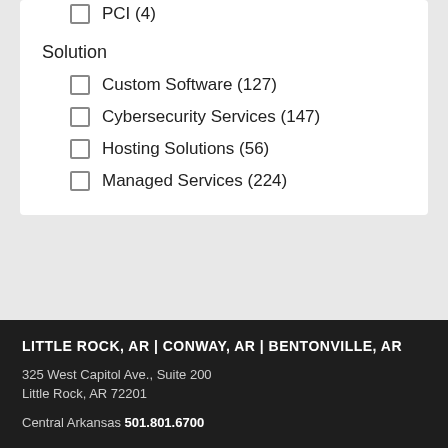PCI (4)
Solution
Custom Software (127)
Cybersecurity Services (147)
Hosting Solutions (56)
Managed Services (224)
LITTLE ROCK, AR | CONWAY, AR | BENTONVILLE, AR
325 West Capitol Ave., Suite 200
Little Rock, AR 72201
Central Arkansas 501.801.6700